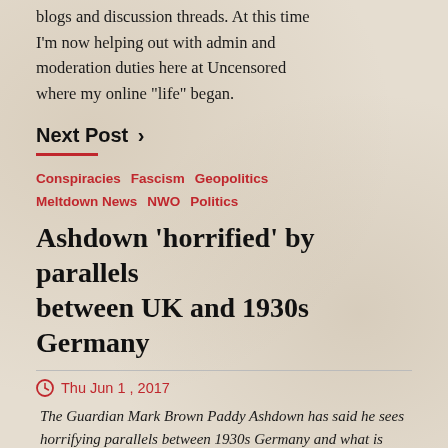blogs and discussion threads. At this time I'm now helping out with admin and moderation duties here at Uncensored where my online "life" began.
Next Post ›
Conspiracies   Fascism   Geopolitics   Meltdown News   NWO   Politics
Ashdown 'horrified' by parallels between UK and 1930s Germany
Thu Jun 1, 2017
The Guardian Mark Brown Paddy Ashdown has said he sees horrifying parallels between 1930s Germany and what is happening in the post-referendum UK. The former Liberal Democrats leader told the Hay festival in Wales on Tuesday that he feared for his country, with a